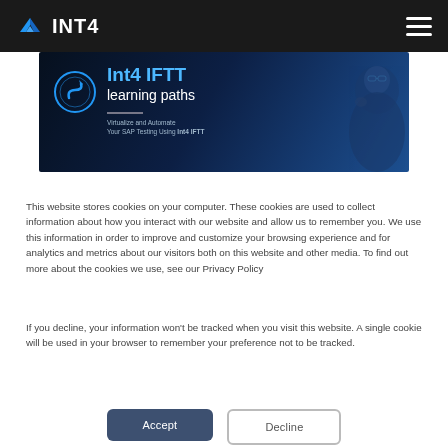INT4
[Figure (screenshot): Int4 IFTT learning paths promotional banner with a person thinking in background, blue themed, text: 'Int4 IFTT learning paths / Virtualize and Automate Your SAP Testing Using Int4 IFTT']
This website stores cookies on your computer. These cookies are used to collect information about how you interact with our website and allow us to remember you. We use this information in order to improve and customize your browsing experience and for analytics and metrics about our visitors both on this website and other media. To find out more about the cookies we use, see our Privacy Policy
If you decline, your information won’t be tracked when you visit this website. A single cookie will be used in your browser to remember your preference not to be tracked.
Accept
Decline